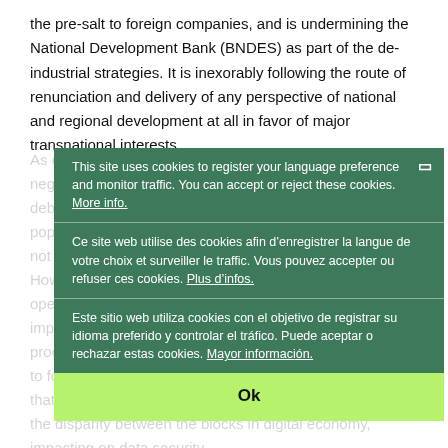the pre-salt to foreign companies, and is undermining the National Development Bank (BNDES) as part of the de-industrial strategies. It is inexorably following the route of renunciation and delivery of any perspective of national and regional development at all in favor of major transnational interests.
As expected, the final phase of the agreement was negotiated without any transparency and or political debate, preventing monitoring of civil society and the population that will be affected. The details of the text are not yet known, nor the extension of the damage foreseen. However, it is already possible to see impacts related to openness in the services sector. The restrictions and limits imposed on public education, health, and other public procurements that limit the use of state purchasing power to foster public policies; the imposition of border measures that may hinder the circulation of generic medicines; and the disparity between the blocks in digital economy, impacting on data security
[Figure (screenshot): Cookie consent overlay in dark green with three language sections (English, French, Spanish) and a yellow-green Ok button. English: 'This site uses cookies to register your language preference and monitor traffic. You can accept or reject these cookies. More info.' French: 'Ce site web utilise des cookies afin d'enregistrer la langue de votre choix et surveiller le traffic. Vous pouvez accepter ou refuser ces cookies. Plus d'infos.' Spanish: 'Este sitio web utiliza cookies con el objetivo de registrar su idioma preferido y controlar el tráfico. Puede aceptar o rechazar estas cookies. Mayor información.' Ok button at bottom.]